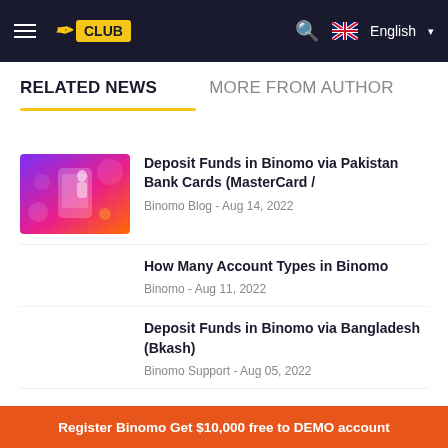Binomo Club — English
RELATED NEWS
MORE FROM AUTHOR
[Figure (illustration): Purple/pink gradient illustration of a person with a large smartphone and decorative circles]
Deposit Funds in Binomo via Pakistan Bank Cards (MasterCard /
Binomo Blog - Aug 14, 2022
How Many Account Types in Binomo
Binomo - Aug 11, 2022
Deposit Funds in Binomo via Bangladesh (Bkash)
Binomo Support - Aug 05, 2022
Register Binomo Get $10,000 free to DEMO account